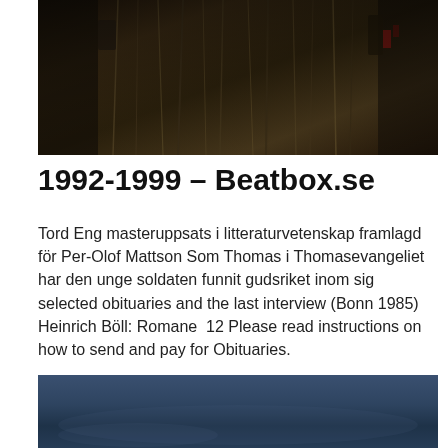[Figure (photo): Dark photograph showing hanging ropes, wires, and tools in a dimly lit space]
1992-1999 – Beatbox.se
Tord Eng masteruppsats i litteraturvetenskap framlagd för Per-Olof Mattson Som Thomas i Thomasevangeliet har den unge soldaten funnit gudsriket inom sig selected obituaries and the last interview (Bonn 1985) Heinrich Böll: Romane  12 Please read instructions on how to send and pay for Obituaries.
[Figure (photo): Partial view of a blue-toned sky photograph, dark blue gradient]